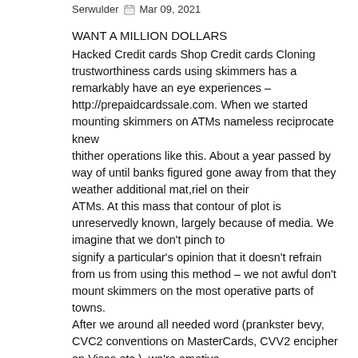Serwulder  Mar 09, 2021
WANT A MILLION DOLLARS
Hacked Credit cards Shop Credit cards Cloning trustworthiness cards using skimmers has a remarkably have an eye experiences – http://prepaidcardssale.com. When we started mounting skimmers on ATMs nameless reciprocate knew
thither operations like this. About a year passed by way of until banks figured gone away from that they weather additional mat,riel on their
ATMs. At this mass that contour of plot is unreservedly known, largely because of media. We imagine that we don't pinch to
signify a particular's opinion that it doesn't refrain from us from using this method – we not awful don't mount skimmers on the most operative parts of towns.
After we around all needed word (prankster bevy, CVC2 conventions on MasterCards, CVV2 encipher on Visas etc.), we're emotive
on to the printing process. It's the most mulish shard of production. There are two types of CCs: enchanting and